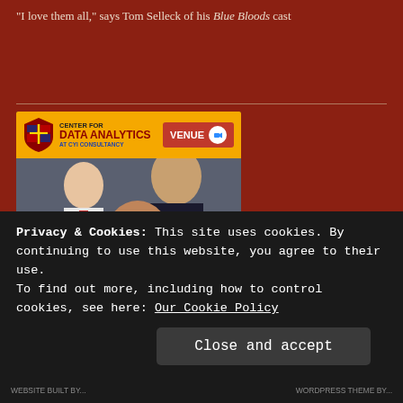"I love them all," says Tom Selleck of his Blue Bloods cast
[Figure (infographic): Center for Data Analytics at CYI Consultancy advertisement poster. Shows logo with shield, VENUE badge with Zoom icon, photo of professionals reviewing documents, and text: DATA ANALYTICS TRAINING with Classes ONLINE VIA TEAMS Saturday 7th November.]
Privacy & Cookies: This site uses cookies. By continuing to use this website, you agree to their use.
To find out more, including how to control cookies, see here: Our Cookie Policy
Close and accept